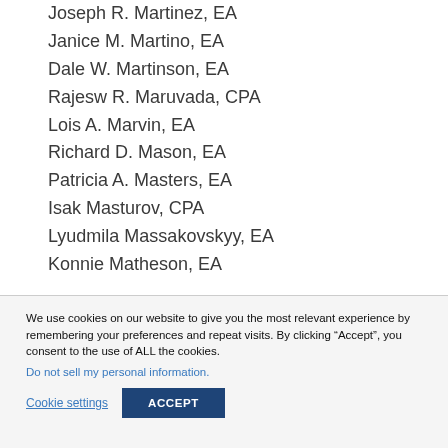Joseph R. Martinez, EA
Janice M. Martino, EA
Dale W. Martinson, EA
Rajesw R. Maruvada, CPA
Lois A. Marvin, EA
Richard D. Mason, EA
Patricia A. Masters, EA
Isak Masturov, CPA
Lyudmila Massakovskyy, EA
Konnie Matheson, EA
We use cookies on our website to give you the most relevant experience by remembering your preferences and repeat visits. By clicking “Accept”, you consent to the use of ALL the cookies.
Do not sell my personal information.